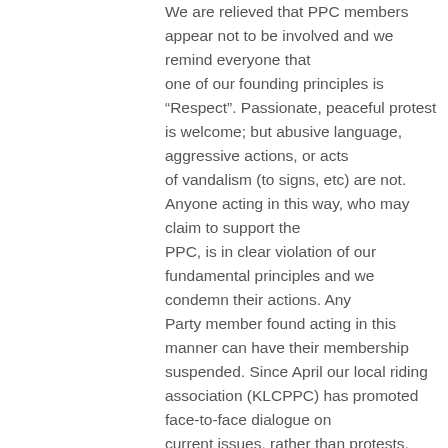We are relieved that PPC members appear not to be involved and we remind everyone that one of our founding principles is “Respect”. Passionate, peaceful protest is welcome; but abusive language, aggressive actions, or acts of vandalism (to signs, etc) are not. Anyone acting in this way, who may claim to support the PPC, is in clear violation of our fundamental principles and we condemn their actions. Any Party member found acting in this manner can have their membership suspended. Since April our local riding association (KLCPPC) has promoted face-to-face dialogue on current issues, rather than protests. Everyone is invited to join these discussions online, or in person. John Barr.